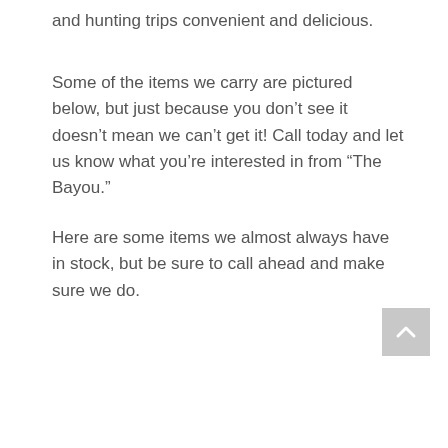and hunting trips convenient and delicious.
Some of the items we carry are pictured below, but just because you don’t see it doesn’t mean we can’t get it! Call today and let us know what you’re interested in from “The Bayou.”
Here are some items we almost always have in stock, but be sure to call ahead and make sure we do.